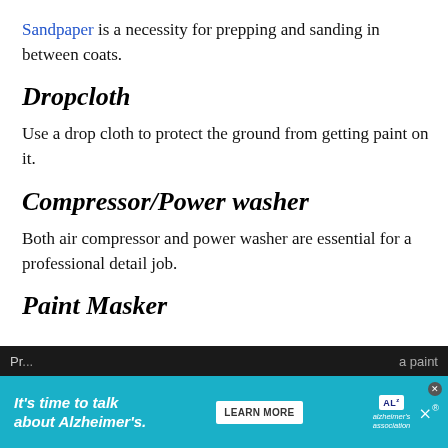Sandpaper is a necessity for prepping and sanding in between coats.
Dropcloth
Use a drop cloth to protect the ground from getting paint on it.
Compressor/Power washer
Both air compressor and power washer are essential for a professional detail job.
Paint Masker
Pr... a paint
[Figure (infographic): Advertisement banner: It's time to talk about Alzheimer's. LEARN MORE button, Alzheimer's Association logo.]